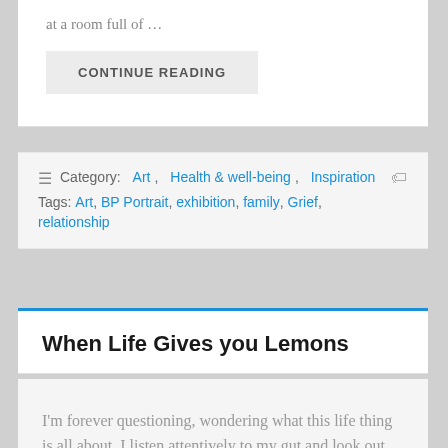at a room full of …
CONTINUE READING
Category: Art, Health & well-being, Inspiration
Tags: Art, BP Portrait, exhibition, family, Grief, relationship
When Life Gives you Lemons
I'm forever questioning, wondering what this life thing is all about. I listen attentively to my gut and look out for signs that I'm heading in the right direction.